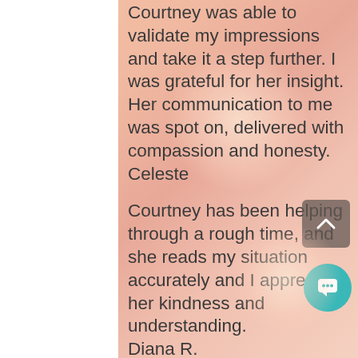Courtney was able to validate my impressions and take it a step further. I was grateful for her insight. Her communication to me was spot on, delivered with compassion and honesty. Celeste
Courtney has been helping through a rough time, and she reads my situation accurately and I appreciate her kindness and understanding. Diana R.
Thank you so much, Courtney!!! Diana S., Nashville, TN
You are amazing Courtney!  So